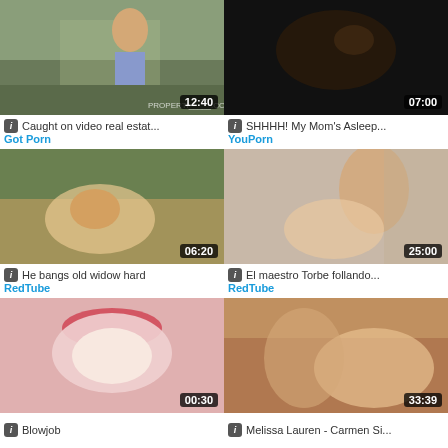[Figure (photo): Outdoor scene with person, duration 12:40]
ℹ Caught on video real estat...
Got Porn
[Figure (photo): Close-up dark scene, duration 07:00]
ℹ SHHHH! My Mom's Asleep...
YouPorn
[Figure (photo): Blonde woman with glasses, duration 06:20]
ℹ He bangs old widow hard
RedTube
[Figure (photo): Couple on bed, girl with glasses, duration 25:00]
ℹ El maestro Torbe follando...
RedTube
[Figure (photo): Close-up lips scene, duration 00:30]
ℹ Blowjob
[Figure (photo): Couple scene, duration 33:39]
ℹ Melissa Lauren - Carmen Si...